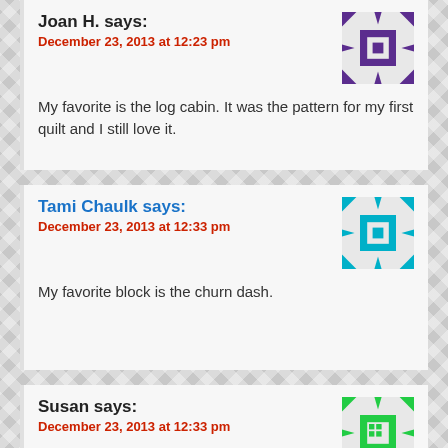Joan H. says:
December 23, 2013 at 12:23 pm
My favorite is the log cabin. It was the pattern for my first quilt and I still love it.
[Figure (illustration): Purple quilt block avatar icon with geometric star/snowflake pattern]
Tami Chaulk says:
December 23, 2013 at 12:33 pm
My favorite block is the churn dash.
[Figure (illustration): Teal/cyan quilt block avatar icon with geometric star/snowflake pattern]
Susan says:
December 23, 2013 at 12:33 pm
My all time favorite quilt block is the log cabin. My first quilt was a heart log cabin and I love all the
[Figure (illustration): Green quilt block avatar icon with geometric snowflake pattern]